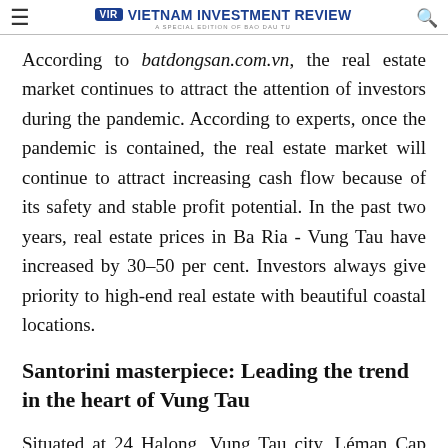Vietnam Investment Review — A Special Edition of Bao Dau Tu
According to batdongsan.com.vn, the real estate market continues to attract the attention of investors during the pandemic. According to experts, once the pandemic is contained, the real estate market will continue to attract increasing cash flow because of its safety and stable profit potential. In the past two years, real estate prices in Ba Ria - Vung Tau have increased by 30–50 per cent. Investors always give priority to high-end real estate with beautiful coastal locations.
Santorini masterpiece: Leading the trend in the heart of Vung Tau
Situated at 24 Halong, Vung Tau city, Léman Cap Residences, which has been chosen as the most attractive...